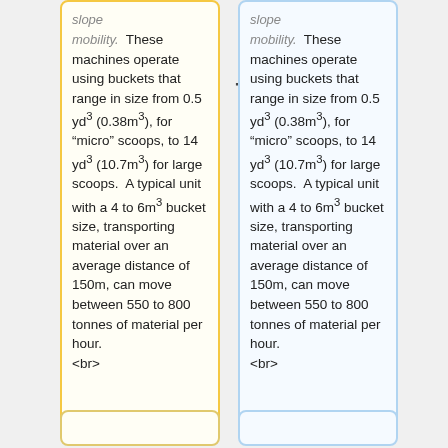slope mobility. These machines operate using buckets that range in size from 0.5 yd3 (0.38m3), for "micro" scoops, to 14 yd3 (10.7m3) for large scoops. A typical unit with a 4 to 6m3 bucket size, transporting material over an average distance of 150m, can move between 550 to 800 tonnes of material per hour. <br>
slope mobility. These machines operate using buckets that range in size from 0.5 yd3 (0.38m3), for "micro" scoops, to 14 yd3 (10.7m3) for large scoops. A typical unit with a 4 to 6m3 bucket size, transporting material over an average distance of 150m, can move between 550 to 800 tonnes of material per hour. <br>